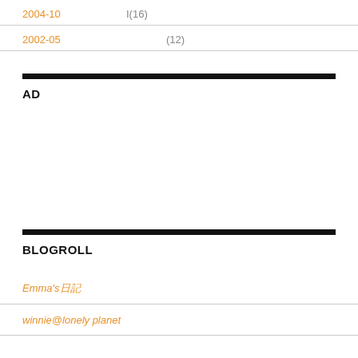2004-10  I(16)
2002-05  (12)
AD
BLOGROLL
Emma's日記
winnie@lonely planet